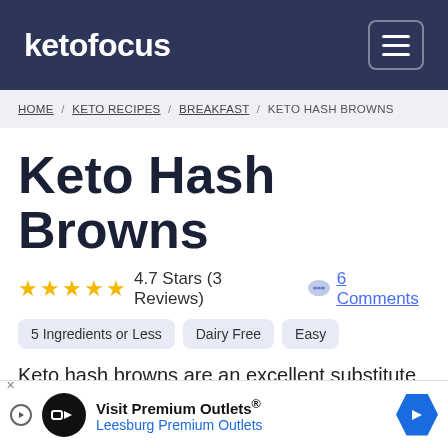ketofocus
HOME / KETO RECIPES / BREAKFAST / KETO HASH BROWNS
Keto Hash Browns
4.7 Stars (3 Reviews) 6 Comments
5 Ingredients or Less
Dairy Free
Easy
Keto hash browns are an excellent substitute for the traditional carb-filled potato hash browns. Th...